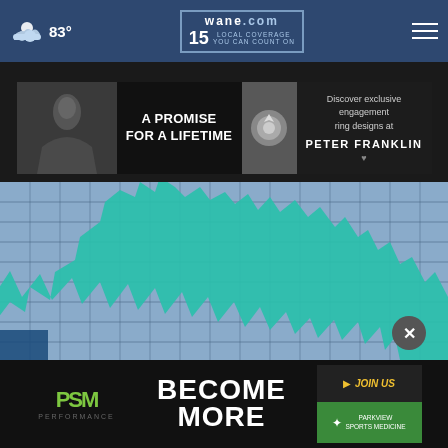83° wane.com 15 LOCAL COVERAGE YOU CAN COUNT ON
[Figure (photo): Peter Franklin jeweler advertisement: black and white wedding photo left, diamond ring photo center, text 'A PROMISE FOR A LIFETIME' and 'Discover exclusive engagement ring designs at PETER FRANKLIN']
[Figure (photo): Main content image showing a teal/green jagged arch shape (dinosaur-like silhouette) against a blurred blue grid background]
[Figure (photo): PSM Performance advertisement: green PSM logo, 'BECOME MORE' text in white, 'JOIN US' button in yellow, Parkview Sports Medicine logo]